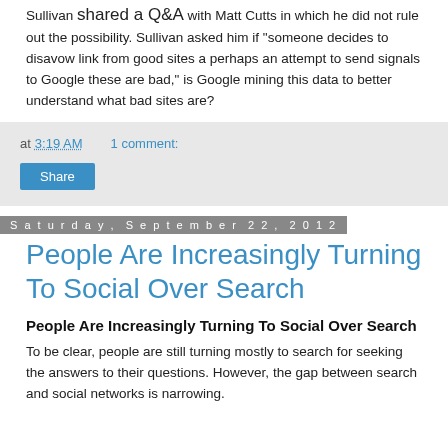Sullivan shared a Q&A with Matt Cutts in which he did not rule out the possibility. Sullivan asked him if "someone decides to disavow link from good sites a perhaps an attempt to send signals to Google these are bad," is Google mining this data to better understand what bad sites are?
at 3:19 AM   1 comment:
Share
Saturday, September 22, 2012
People Are Increasingly Turning To Social Over Search
People Are Increasingly Turning To Social Over Search
To be clear, people are still turning mostly to search for seeking the answers to their questions. However, the gap between search and social networks is narrowing.